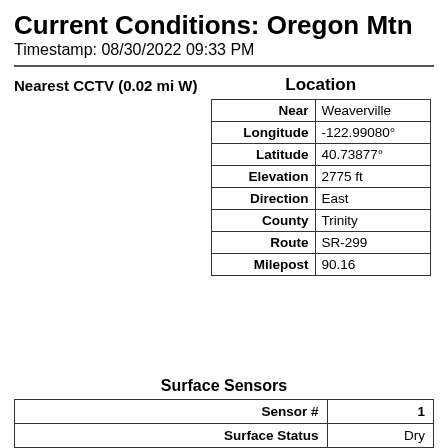Current Conditions:  Oregon Mtn
Timestamp:  08/30/2022 09:33 PM
Nearest CCTV (0.02 mi W)
Location
|  |  |
| --- | --- |
| Near | Weaverville |
| Longitude | -122.99080° |
| Latitude | 40.73877° |
| Elevation | 2775 ft |
| Direction | East |
| County | Trinity |
| Route | SR-299 |
| Milepost | 90.16 |
Surface Sensors
| Sensor # | 1 |
| --- | --- |
| Surface Status | Dry |